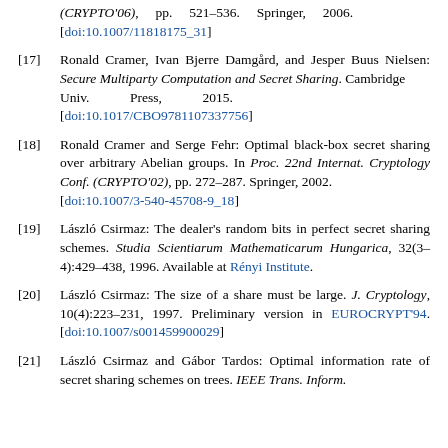[16] ... (CRYPTO'06), pp. 521–536. Springer, 2006. [doi:10.1007/11818175_31]
[17] Ronald Cramer, Ivan Bjerre Damgård, and Jesper Buus Nielsen: Secure Multiparty Computation and Secret Sharing. Cambridge Univ. Press, 2015. [doi:10.1017/CBO9781107337756]
[18] Ronald Cramer and Serge Fehr: Optimal black-box secret sharing over arbitrary Abelian groups. In Proc. 22nd Internat. Cryptology Conf. (CRYPTO'02), pp. 272–287. Springer, 2002. [doi:10.1007/3-540-45708-9_18]
[19] László Csirmaz: The dealer's random bits in perfect secret sharing schemes. Studia Scientiarum Mathematicarum Hungarica, 32(3–4):429–438, 1996. Available at Rényi Institute.
[20] László Csirmaz: The size of a share must be large. J. Cryptology, 10(4):223–231, 1997. Preliminary version in EUROCRYPT'94. [doi:10.1007/s001459900029]
[21] László Csirmaz and Gábor Tardos: Optimal information rate of secret sharing schemes on trees. IEEE Trans. Inform.